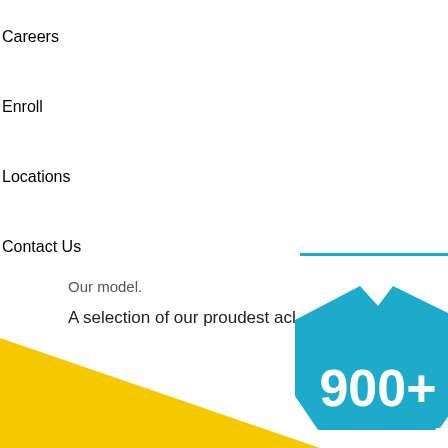Careers
Enroll
Locations
Contact Us
Our model.
A selection of our proudest achievements follows:
[Figure (infographic): Blue octagon/shield shape with '900+' text in white, overlapping a yellow triangle shape, partially cropped at bottom of page]